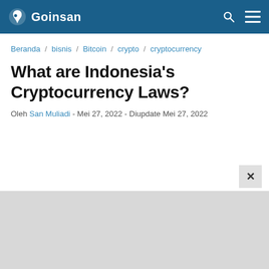Goinsan
Beranda / bisnis / Bitcoin / crypto / cryptocurrency
What are Indonesia's Cryptocurrency Laws?
Oleh San Muliadi - Mei 27, 2022 - Diupdate Mei 27, 2022
[Figure (other): Gray advertisement/content placeholder area at the bottom of the page with a close (×) button in the top-right corner.]